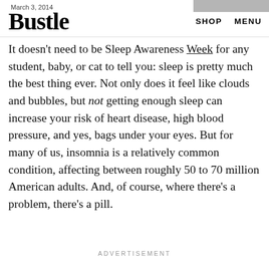March 3, 2014  Bustle  SHOP  MENU
It doesn't need to be Sleep Awareness Week for any student, baby, or cat to tell you: sleep is pretty much the best thing ever. Not only does it feel like clouds and bubbles, but not getting enough sleep can increase your risk of heart disease, high blood pressure, and yes, bags under your eyes. But for many of us, insomnia is a relatively common condition, affecting between roughly 50 to 70 million American adults. And, of course, where there's a problem, there's a pill.
ADVERTISEMENT